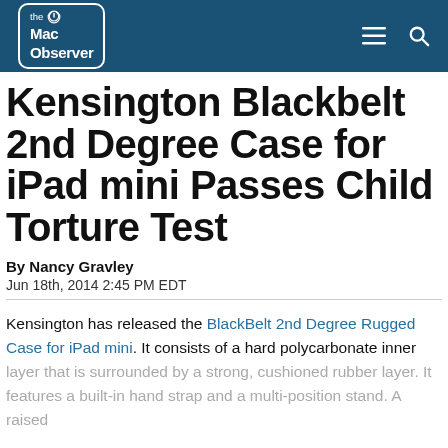the Mac Observer
Kensington Blackbelt 2nd Degree Case for iPad mini Passes Child Torture Test
By Nancy Gravley
Jun 18th, 2014 2:45 PM EDT
Kensington has released the BlackBelt 2nd Degree Rugged Case for iPad mini. It consists of a hard polycarbonate inner layer that is surrounded by a strong, cushioned rubber layer. It features a built-in hand strap and a multi-position stand. A raised